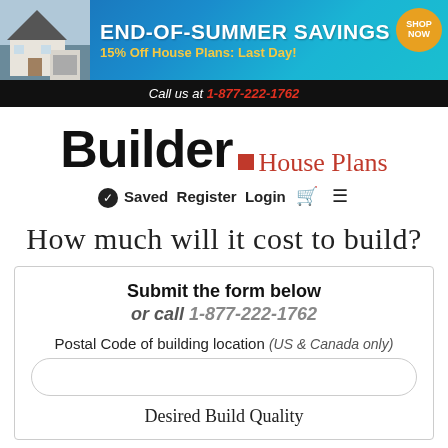[Figure (screenshot): Website banner ad for end-of-summer savings on house plans with house image on left and teal/blue background]
Call us at 1-877-222-1762
Builder House Plans
Saved  Register  Login  (cart icon)  (menu icon)
How much will it cost to build?
Submit the form below or call 1-877-222-1762
Postal Code of building location (US & Canada only)
Desired Build Quality